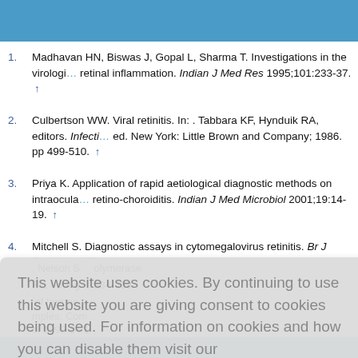1. Madhavan HN, Biswas J, Gopal L, Sharma T. Investigations in the virological and immunological diagnosis of posterior uveitis with retinal inflammation. Indian J Med Res 1995;101:233-37. ↑
2. Culbertson WW. Viral retinitis. In: . Tabbara KF, Hynduik RA, editors. Infectious diseases of the eye. 2nd ed. New York: Little Brown and Company; 1986. pp 499-510. ↑
3. Priya K. Application of rapid aetiological diagnostic methods on intraocular fluids of patients with retino-choroiditis. Indian J Med Microbiol 2001;19:14-19. ↑
4. Mitchell S. Diagnostic assays in cytomegalovirus retinitis. Br J Ophthalmol 1...
This website uses cookies. By continuing to use this website you are giving consent to cookies being used. For information on cookies and how you can disable them visit our
Privacy and Cookie Policy.
AGREE & PROCEED